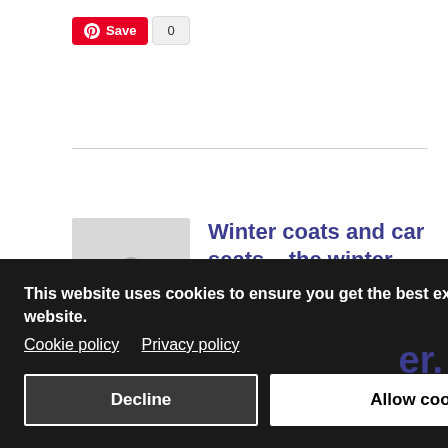[Figure (other): Pinterest Save button with count bubble showing 0]
Winter coats and car seats – the winter facts every parent needs to know.
Friday, 04 December 2015
Good Egg Safety
Winter car seat safety
This website uses cookies to ensure you get the best experience on our website.
Cookie policy   Privacy policy
Decline
Allow cookies